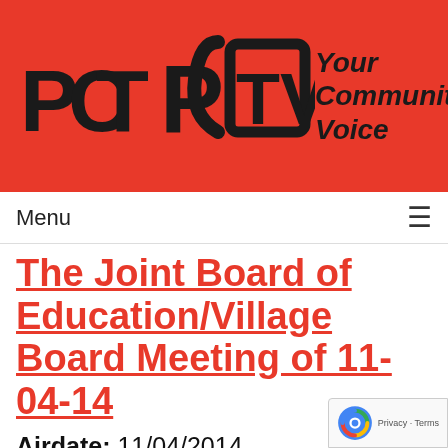[Figure (logo): PCTV logo with stylized letters PC and TV on red background, with tagline 'Your Community Voice' in italic bold]
Menu ≡
The Joint Board of Education/Village Board Meeting of 11-04-14
Airdate: 11/04/2014
Guests: The Village Board, John Mueller, Judy Mezey